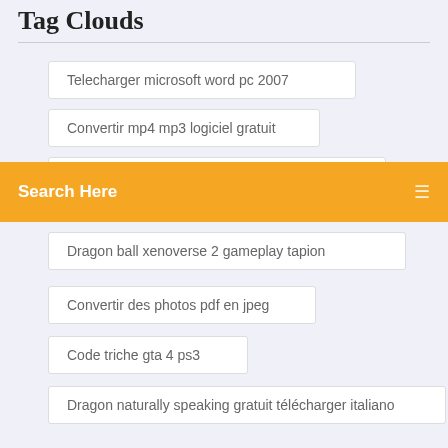Tag Clouds
Telecharger microsoft word pc 2007
Convertir mp4 mp3 logiciel gratuit
Search Here
Dragon ball xenoverse 2 gameplay tapion
Convertir des photos pdf en jpeg
Code triche gta 4 ps3
Dragon naturally speaking gratuit télécharger italiano